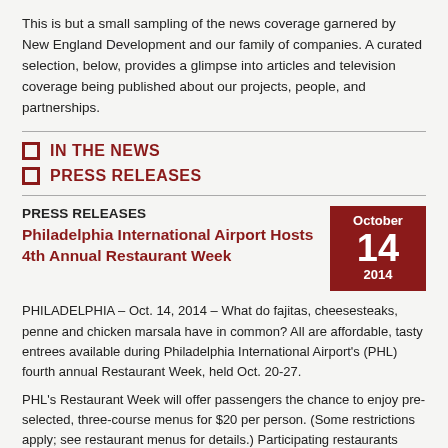This is but a small sampling of the news coverage garnered by New England Development and our family of companies. A curated selection, below, provides a glimpse into articles and television coverage being published about our projects, people, and partnerships.
IN THE NEWS
PRESS RELEASES
PRESS RELEASES
Philadelphia International Airport Hosts 4th Annual Restaurant Week
PHILADELPHIA – Oct. 14, 2014 – What do fajitas, cheesesteaks, penne and chicken marsala have in common? All are affordable, tasty entrees available during Philadelphia International Airport's (PHL) fourth annual Restaurant Week, held Oct. 20-27.
PHL's Restaurant Week will offer passengers the chance to enjoy pre-selected, three-course menus for $20 per person. (Some restrictions apply; see restaurant menus for details.) Participating restaurants include...